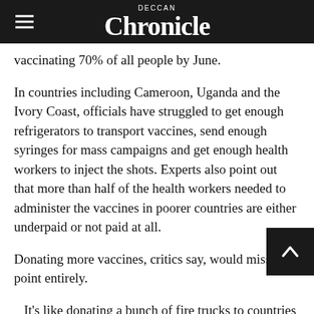Deccan Chronicle
vaccinating 70% of all people by June.
In countries including Cameroon, Uganda and the Ivory Coast, officials have struggled to get enough refrigerators to transport vaccines, send enough syringes for mass campaigns and get enough health workers to inject the shots. Experts also point out that more than half of the health workers needed to administer the vaccines in poorer countries are either underpaid or not paid at all.
Donating more vaccines, critics say, would miss the point entirely.
It's like donating a bunch of fire trucks to countries that are on fire, but they have no water,  said R Sharma, a vice president at the charity CARE, wh has helped immunize people in more than 30